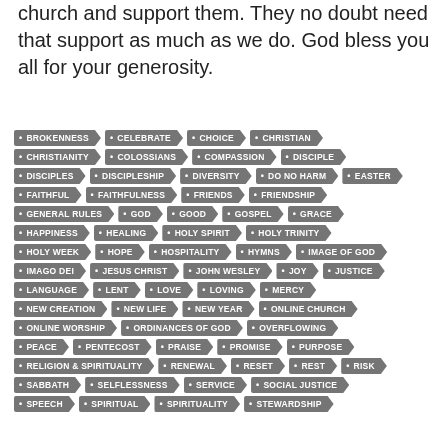church and support them. They no doubt need that support as much as we do. God bless you all for your generosity.
[Figure (infographic): A tag cloud of religious keywords displayed as dark grey arrow/tag shapes with bullet points, including: BROKENNESS, CELEBRATE, CHOICE, CHRISTIAN, CHRISTIANITY, COLOSSIANS, COMPASSION, DISCIPLE, DISCIPLES, DISCIPLESHIP, DIVERSITY, DO NO HARM, EASTER, FAITHFUL, FAITHFULNESS, FRIENDS, FRIENDSHIP, GENERAL RULES, GOD, GOOD, GOSPEL, GRACE, HAPPINESS, HEALING, HOLY SPIRIT, HOLY TRINITY, HOLY WEEK, HOPE, HOSPITALITY, HYMNS, IMAGE OF GOD, IMAGO DEI, JESUS CHRIST, JOHN WESLEY, JOY, JUSTICE, LANGUAGE, LENT, LOVE, LOVING, MERCY, NEW CREATION, NEW LIFE, NEW YEAR, ONLINE CHURCH, ONLINE WORSHIP, ORDINANCES OF GOD, OVERFLOWING, PEACE, PENTECOST, PRAISE, PROMISE, PURPOSE, RELIGION & SPIRITUALITY, RENEWAL, RESET, REST, RISK, SABBATH, SELFLESSNESS, SERVICE, SOCIAL JUSTICE, SPEECH, SPIRITUAL, SPIRITUALITY, STEWARDSHIP]